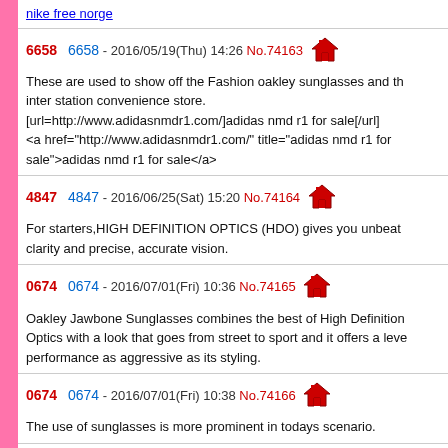<a href="http://www.postruckstop.com/m069/" title="nike free norge">nike free norge</a>
6658  6658 - 2016/05/19(Thu) 14:26 No.74163
These are used to show off the Fashion oakley sunglasses and the inter station convenience store.
[url=http://www.adidasnmdr1.com/]adidas nmd r1 for sale[/url]
<a href="http://www.adidasnmdr1.com/" title="adidas nmd r1 for sale">adidas nmd r1 for sale</a>
4847  4847 - 2016/06/25(Sat) 15:20 No.74164
For starters,HIGH DEFINITION OPTICS (HDO) gives you unbeatable clarity and precise, accurate vision.
0674  0674 - 2016/07/01(Fri) 10:36 No.74165
Oakley Jawbone Sunglasses combines the best of High Definition Optics with a look that goes from street to sport and it offers a level of performance as aggressive as its styling.
0674  0674 - 2016/07/01(Fri) 10:38 No.74166
The use of sunglasses is more prominent in todays scenario.